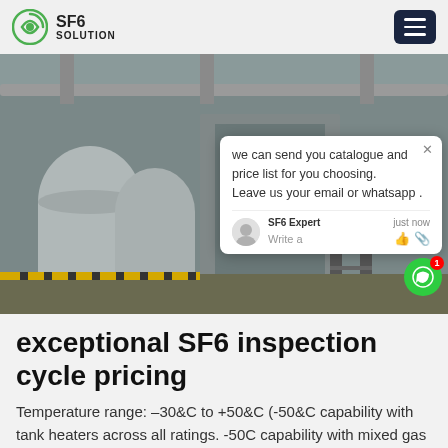SF6 SOLUTION
[Figure (photo): Industrial SF6 equipment on an outdoor site. Large cylindrical tanks, grey metal structures, stairs, and workers in blue uniforms visible.]
we can send you catalogue and price list for you choosing. Leave us your email or whatsapp .
SF6 Expert   just now
Write a
exceptional SF6 inspection cycle pricing
Temperature range: –30&C to +50&C (-50&C capability with tank heaters across all ratings. -50C capability with mixed gas (SF6/CF4) on select